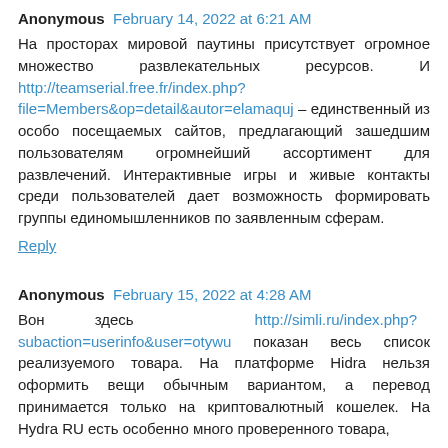Anonymous  February 14, 2022 at 6:21 AM
На просторах мировой паутины присутствует огромное множество развлекательных ресурсов. И http://teamserial.free.fr/index.php?file=Members&op=detail&autor=elamaquj – единственный из особо посещаемых сайтов, предлагающий зашедшим пользователям огромнейший ассортимент для развлечений. Интерактивные игры и живые контакты среди пользователей дает возможность формировать группы единомышленников по заявленным сферам.
Reply
Anonymous  February 15, 2022 at 4:28 AM
Вон здесь http://simli.ru/index.php?subaction=userinfo&user=otywu показан весь список реализуемого товара. На платформе Hidra нельзя оформить вещи обычным вариантом, а перевод принимается только на криптовалютный кошелек. На Hydra RU есть особенно много проверенного товара,